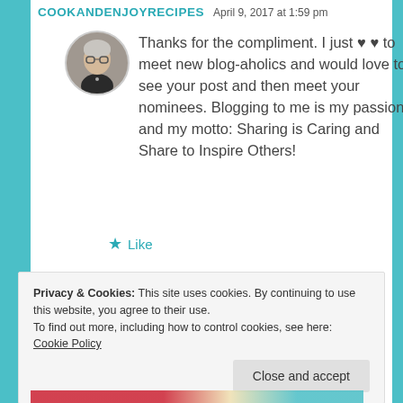COOKANDENJOYRECIPES   April 9, 2017 at 1:59 pm
Thanks for the compliment. I just ♥ ♥ to meet new blog-aholics and would love to see your post and then meet your nominees. Blogging to me is my passion and my motto: Sharing is Caring and Share to Inspire Others!
★ Like
Privacy & Cookies: This site uses cookies. By continuing to use this website, you agree to their use.
To find out more, including how to control cookies, see here: Cookie Policy
Close and accept